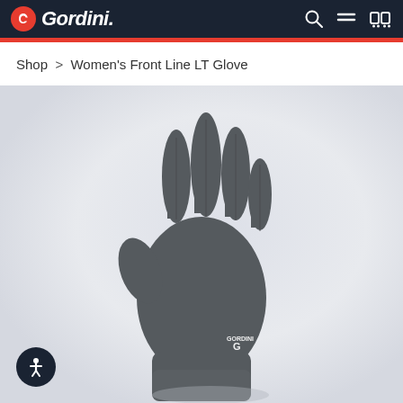Gordini
Shop > Women's Front Line LT Glove
[Figure (photo): Product photo of a dark gray Women's Front Line LT Glove by Gordini, shown from the back/palm side with fingers spread upward, displayed against a light gray gradient background. A small Gordini logo is visible on the wrist area of the glove.]